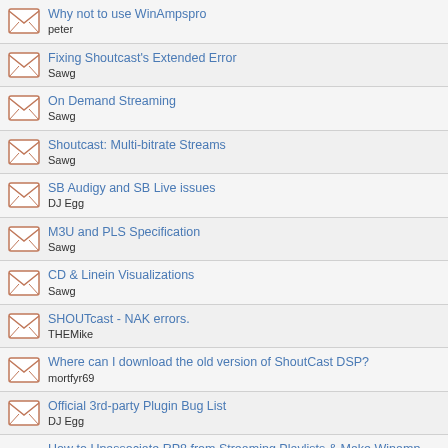Why not to use WinAmpspro
peter
Fixing Shoutcast's Extended Error
Sawg
On Demand Streaming
Sawg
Shoutcast: Multi-bitrate Streams
Sawg
SB Audigy and SB Live issues
DJ Egg
M3U and PLS Specification
Sawg
CD & Linein Visualizations
Sawg
SHOUTcast - NAK errors.
THEMike
Where can I download the old version of ShoutCast DSP?
mortfyr69
Official 3rd-party Plugin Bug List
DJ Egg
How to Unassociate RP8 from Streaming Playlists & Make Winamp the Defa...
DJ Egg
How to disable the text in Explorer context menus?
Kaboon